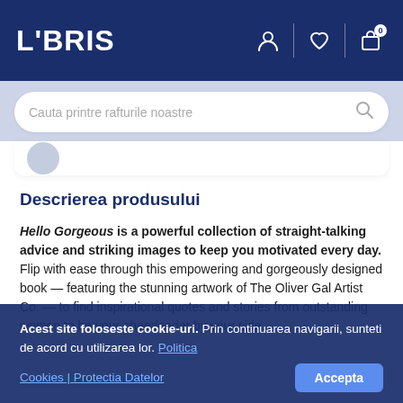LIBRIS
[Figure (screenshot): Search bar with placeholder text: Cauta printre rafturile noastre]
Descrierea produsului
Hello Gorgeous is a powerful collection of straight-talking advice and striking images to keep you motivated every day. Flip with ease through this empowering and gorgeously designed book — featuring the stunning artwork of The Oliver Gal Artist Co. — to find inspirational quotes and stories from outstanding women to be your cheerleader by your side.
Acest site foloseste cookie-uri. Prin continuarea navigarii, sunteti de acord cu utilizarea lor. Politica Cookies | Protectia Datelor